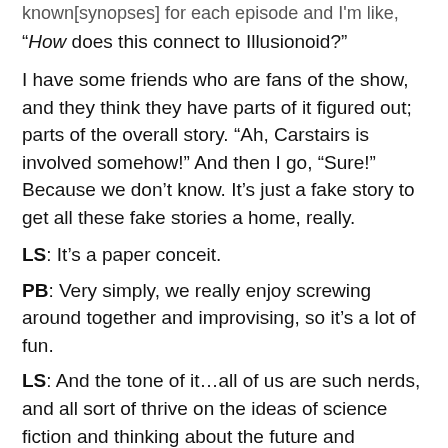known[synopses] for each episode and I'm like,
“How does this connect to Illusionoid?”
I have some friends who are fans of the show, and they think they have parts of it figured out; parts of the overall story. “Ah, Carstairs is involved somehow!” And then I go, “Sure!” Because we don’t know. It’s just a fake story to get all these fake stories a home, really.
LS: It’s a paper conceit.
PB: Very simply, we really enjoy screwing around together and improvising, so it’s a lot of fun.
LS: And the tone of it…all of us are such nerds, and all sort of thrive on the ideas of science fiction and thinking about the future and dystopia. We’ve been steeped in that stuff and we send it up at the same time, because the